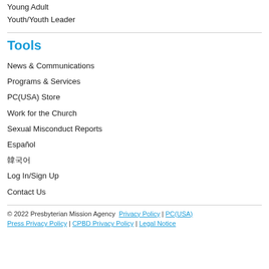Young Adult
Youth/Youth Leader
Tools
News & Communications
Programs & Services
PC(USA) Store
Work for the Church
Sexual Misconduct Reports
Español
한국어
Log In/Sign Up
Contact Us
© 2022 Presbyterian Mission Agency  Privacy Policy | PC(USA) Press Privacy Policy | CPBD Privacy Policy | Legal Notice